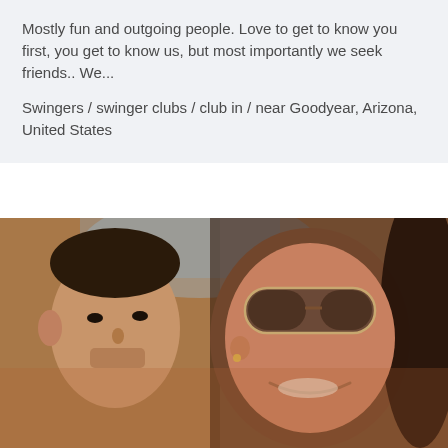Mostly fun and outgoing people. Love to get to know you first, you get to know us, but most importantly we seek friends.. We...
Swingers / swinger clubs / club in / near Goodyear, Arizona, United States
[Figure (photo): Selfie photo of a man and a woman wearing sunglasses, taken in warm/dim lighting]